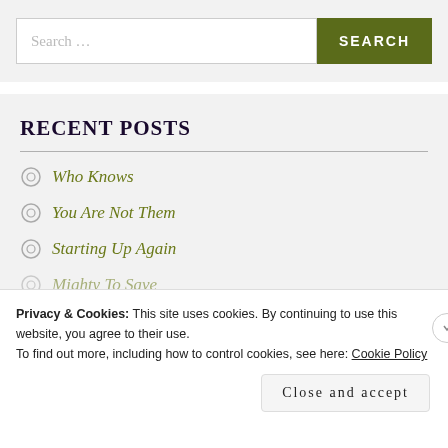[Figure (screenshot): Search bar with text input placeholder 'Search ...' and a dark olive green SEARCH button]
RECENT POSTS
Who Knows
You Are Not Them
Starting Up Again
Mighty To Save
Privacy & Cookies: This site uses cookies. By continuing to use this website, you agree to their use.
To find out more, including how to control cookies, see here: Cookie Policy
Close and accept